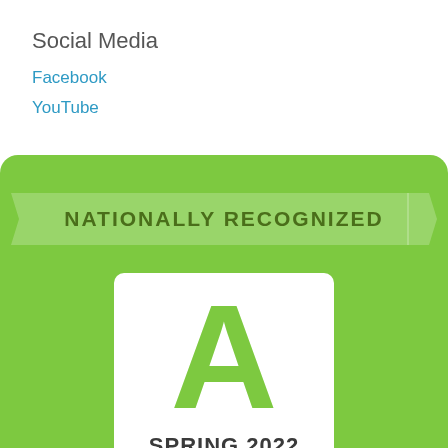Social Media
Facebook
YouTube
[Figure (illustration): Nationally Recognized badge with a green background, a banner ribbon reading 'NATIONALLY RECOGNIZED', and a white card showing a large green letter 'A' and the text 'SPRING 2022']